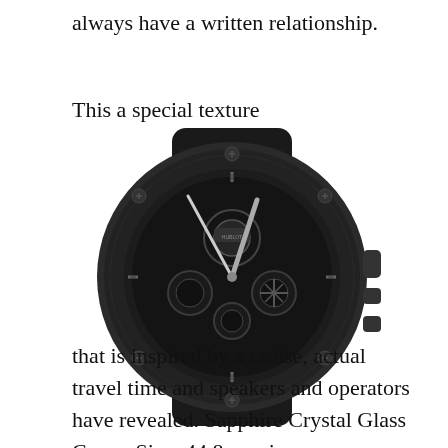always have a written relationship.
This a special texture
[Figure (photo): Black skeleton chronograph watch (Hublot Big Bang style) with all-black ceramic case, exposed movement with visible gears and sub-dials, on white background.]
that is inspired by a cruise, actual travel time and speakers and operators have revealed. Sapphire Crystal Glass Cover. Size: 44.8 mm in